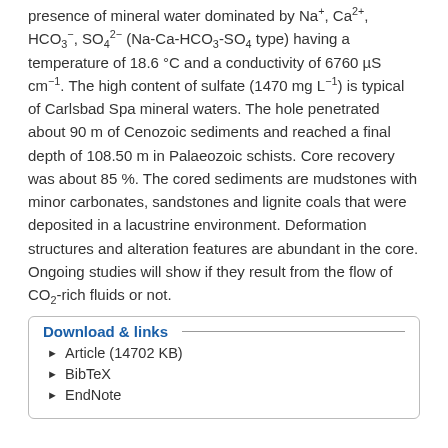presence of mineral water dominated by Na⁺, Ca²⁺, HCO₃⁻, SO₄²⁻ (Na-Ca-HCO₃-SO₄ type) having a temperature of 18.6 °C and a conductivity of 6760 µS cm⁻¹. The high content of sulfate (1470 mg L⁻¹) is typical of Carlsbad Spa mineral waters. The hole penetrated about 90 m of Cenozoic sediments and reached a final depth of 108.50 m in Palaeozoic schists. Core recovery was about 85 %. The cored sediments are mudstones with minor carbonates, sandstones and lignite coals that were deposited in a lacustrine environment. Deformation structures and alteration features are abundant in the core. Ongoing studies will show if they result from the flow of CO₂-rich fluids or not.
Download & links
Article (14702 KB)
BibTeX
EndNote